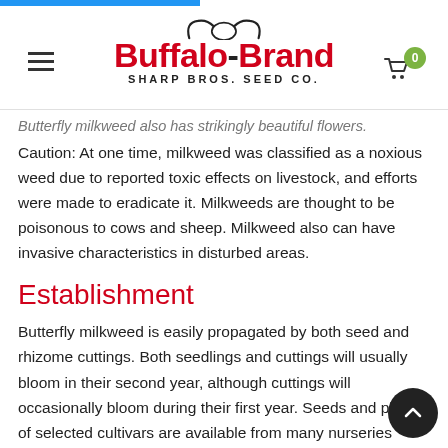Buffalo Brand Sharp Bros. Seed Co.
Butterfly milkweed also has strikingly beautiful flowers. Caution: At one time, milkweed was classified as a noxious weed due to reported toxic effects on livestock, and efforts were made to eradicate it. Milkweeds are thought to be poisonous to cows and sheep. Milkweed also can have invasive characteristics in disturbed areas.
Establishment
Butterfly milkweed is easily propagated by both seed and rhizome cuttings. Both seedlings and cuttings will usually bloom in their second year, although cuttings will occasionally bloom during their first year. Seeds and plants of selected cultivars are available from many nurseries